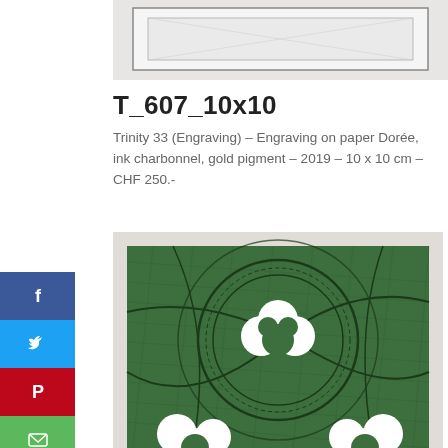[Figure (photo): Top portion of engraving artwork on paper, partially visible, showing a framed rectangular sketch with light background.]
T_607_10x10
Trinity 33 (Engraving) – Engraving on paper Dorée, ink charbonnel, gold pigment – 2019 – 10 x 10 cm – CHF 250.-
[Figure (photo): Green engraving artwork showing trefoil/clover-like white shapes on a dark green textured background with circular and curved line patterns.]